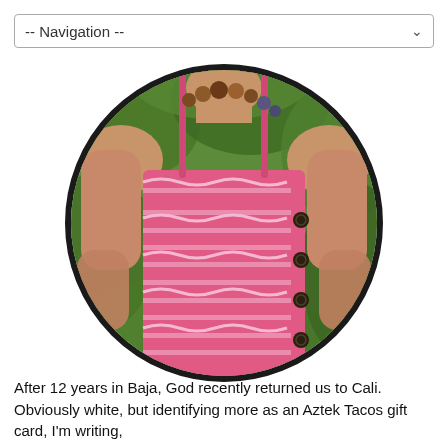-- Navigation --
[Figure (photo): A woman from the neck down wearing a pink striped spaghetti-strap top with ruffle details and dark buttons on the side, a wooden beaded necklace, photographed against a green foliage background. The photo is cropped in a circle with a thick dark border.]
After 12 years in Baja, God recently returned us to Cali. Obviously white, but identifying more as an Aztek Tacos gift card, I'm writing,